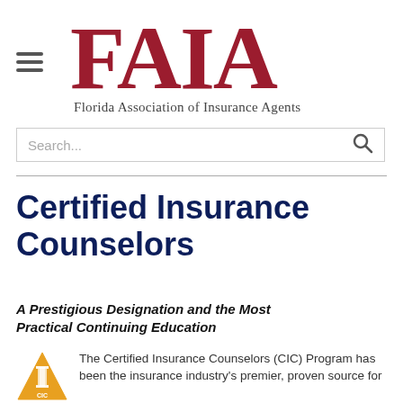[Figure (logo): FAIA logo — large red bold serif letters 'FAIA' above the text 'Florida Association of Insurance Agents' in dark gray serif font]
Search...
Certified Insurance Counselors
A Prestigious Designation and the Most Practical Continuing Education
[Figure (logo): CIC triangular gold/amber logo with a pillar/column icon inside the triangle and 'CIC' letters]
The Certified Insurance Counselors (CIC) Program has been the insurance industry's premier, proven source for